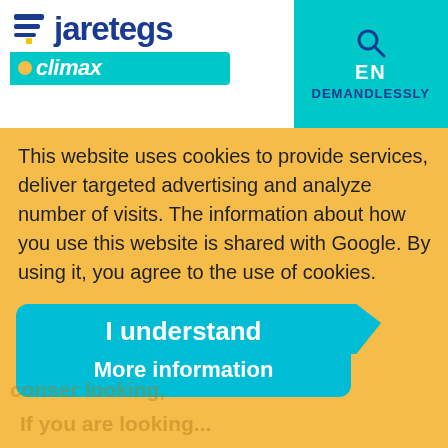[Figure (logo): Jaretegs logo with blue stacked lines icon and blue bold text 'jaretegs', with 'climax' in white italic on a teal bar below]
EN
DEMANDLESSLY
This website uses cookies to provide services, deliver targeted advertising and analyze number of visits. The information about how you use this website is shared with Google. By using it, you agree to the use of cookies.
I understand
More information
If you are looking...